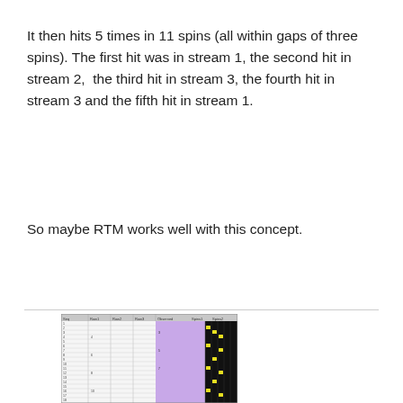It then hits 5 times in 11 spins (all within gaps of three spins). The first hit was in stream 1, the second hit in stream 2,  the third hit in stream 3, the fourth hit in stream 3 and the fifth hit in stream 1.
So maybe RTM works well with this concept.
[Figure (screenshot): A screenshot of a spreadsheet or data grid showing columns with numerical data, a lavender/purple colored section, and a black and yellow grid pattern on the right side representing some kind of tracking or analysis table.]